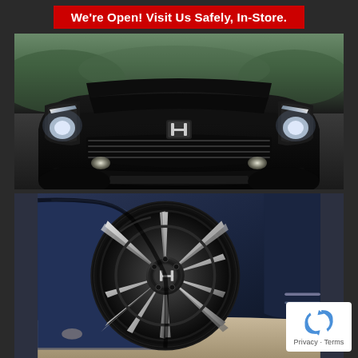We're Open! Visit Us Safely, In-Store.
[Figure (photo): Front view of a black Honda SUV (Pilot) driving on a road, shot from a low angle showing the front grille, headlights, and Honda logo badge]
[Figure (photo): Close-up of a black and silver alloy wheel/tire on a dark blue Honda SUV, with Honda center cap visible, shot from outside the wheel well]